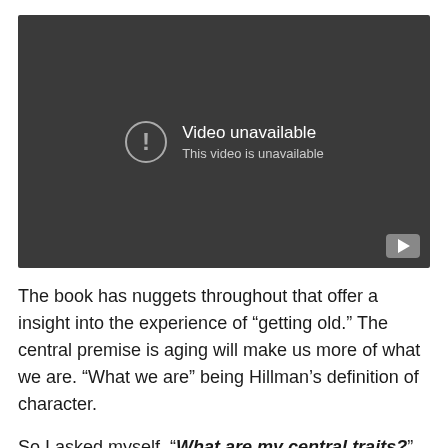[Figure (screenshot): A YouTube-style video player showing a dark background with a 'Video unavailable' message and an exclamation mark circle icon, with a YouTube play button icon in the bottom right corner.]
The book has nuggets throughout that offer a insight into the experience of “getting old.” The central premise is aging will make us more of what we are. “What we are” being Hillman’s definition of character.
So I asked myself, “What are my central traits?” and,